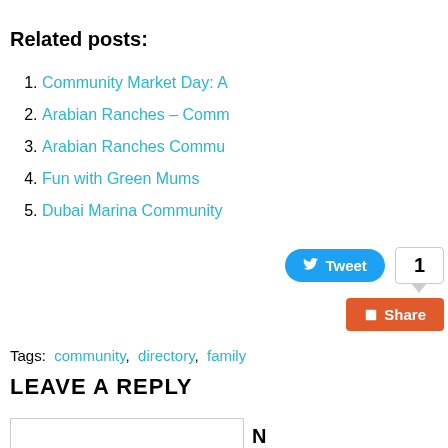Related posts:
Community Market Day: A…
Arabian Ranches – Comm…
Arabian Ranches Commu…
Fun with Green Mums
Dubai Marina Community…
Tweet  1
Share
Tags:  community,  directory,  family…
LEAVE A REPLY
N (Name field)
M (Mail field) (required)